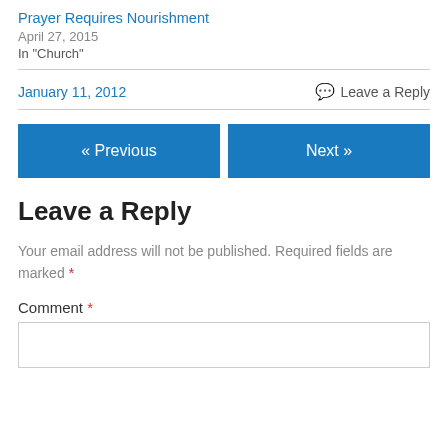Prayer Requires Nourishment
April 27, 2015
In "Church"
January 11, 2012    💬 Leave a Reply
« Previous    Next »
Leave a Reply
Your email address will not be published. Required fields are marked *
Comment *